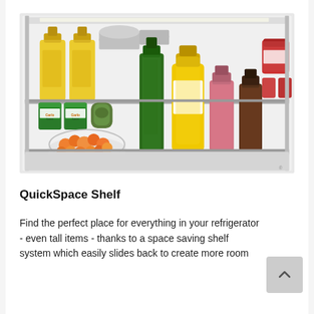[Figure (photo): Interior view of a refrigerator shelf showing various bottles, jars, cans, and a bowl of oranges/kumquats neatly organized. Items include yellow cooking oil bottles, a tall green glass bottle, a yellow juice bottle, pink and brown beverage bottles, canned goods with green labels, jars of olives, red container items, and a clear bowl of orange fruit.]
QuickSpace Shelf
Find the perfect place for everything in your refrigerator - even tall items - thanks to a space saving shelf system which easily slides back to create more room